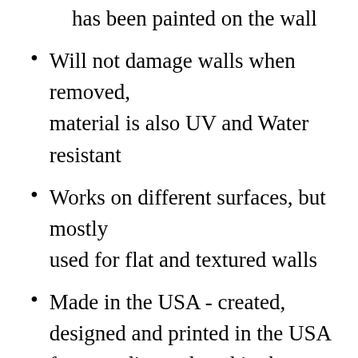has been painted on the wall
Will not damage walls when removed, material is also UV and Water resistant
Works on different surfaces, but mostly used for flat and textured walls
Made in the USA - created, designed and printed in the USA from media produced in the USA.  There are a lot of decals out there that are made from cheap material and overseas, do not be fooled by these poor products.  Our decals are made from the highest quality material and safe for your child.